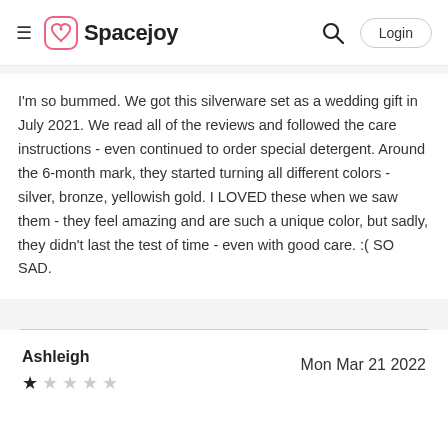Spacejoy
I'm so bummed. We got this silverware set as a wedding gift in July 2021. We read all of the reviews and followed the care instructions - even continued to order special detergent. Around the 6-month mark, they started turning all different colors - silver, bronze, yellowish gold. I LOVED these when we saw them - they feel amazing and are such a unique color, but sadly, they didn't last the test of time - even with good care. :( SO SAD.
Ashleigh
Mon Mar 21 2022